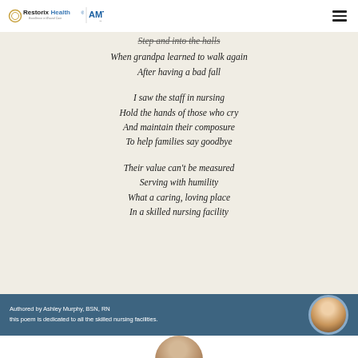RestorixHealth | AMT Excellence in Wound Care
Step and into the halls
When grandpa learned to walk again
After having a bad fall

I saw the staff in nursing
Hold the hands of those who cry
And maintain their composure
To help families say goodbye

Their value can't be measured
Serving with humility
What a caring, loving place
In a skilled nursing facility
Authored by Ashley Murphy, BSN, RN
this poem is dedicated to all the skilled nursing facilities.
[Figure (photo): Circular portrait photo of a person, partially visible at bottom of page]